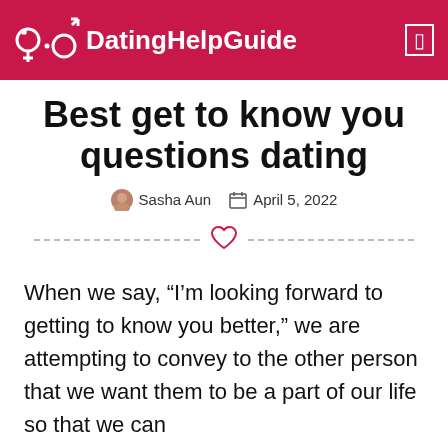DatingHelpGuide
Best get to know you questions dating
Sasha Aun  April 5, 2022
When we say, “I’m looking forward to getting to know you better,” we are attempting to convey to the other person that we want them to be a part of our life so that we can